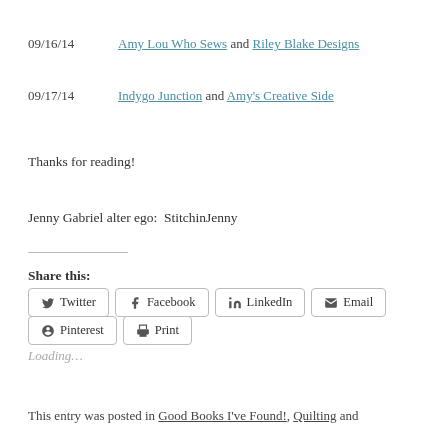09/16/14   Amy Lou Who Sews and Riley Blake Designs
09/17/14   Indygo Junction and Amy's Creative Side
Thanks for reading!
Jenny Gabriel alter ego:  StitchinJenny
Share this:
Twitter  Facebook  LinkedIn  Email  Pinterest  Print
Loading...
This entry was posted in Good Books I've Found!, Quilting and